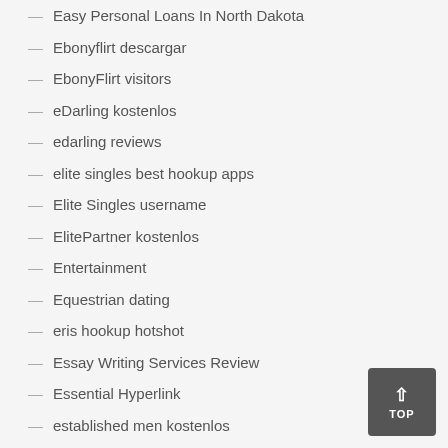Easy Personal Loans In North Dakota
Ebonyflirt descargar
EbonyFlirt visitors
eDarling kostenlos
edarling reviews
elite singles best hookup apps
Elite Singles username
ElitePartner kostenlos
Entertainment
Equestrian dating
eris hookup hotshot
Essay Writing Services Review
Essential Hyperlink
established men kostenlos
everyone approved payday loans